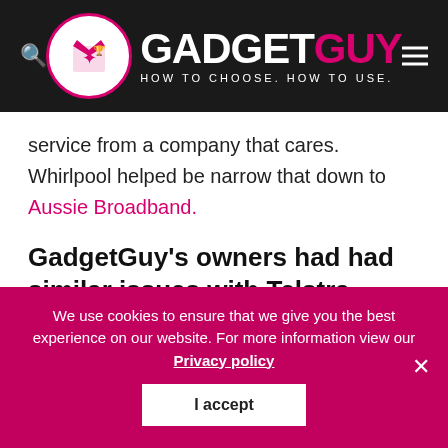GADGETGUY – HOW TO CHOOSE. HOW TO USE.
service from a company that cares. Whirlpool helped be narrow that down to Aussie Broadband.
GadgetGuy's owners had had similar issues with Telstra, even as a business client.
In short, they looked around for a company that cares and signed up with Aussie Broadband.
We use cookies to ensure that we give you the best experience on our website. For more information view our Privacy policy
I accept